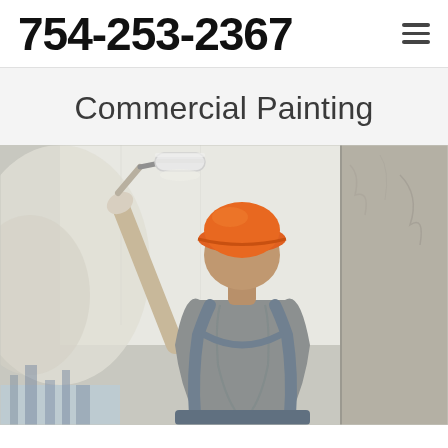754-253-2367
Commercial Painting
[Figure (photo): A construction worker wearing an orange hard hat and gray overalls seen from behind, using a paint roller to apply white paint to a wall or building exterior surface.]